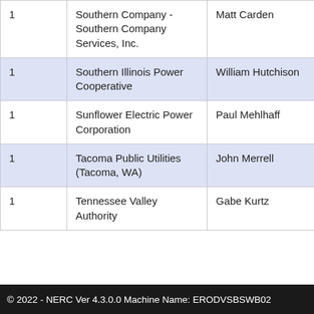|  |  |  |  |
| --- | --- | --- | --- |
| 1 | Southern Company - Southern Company Services, Inc. | Matt Carden |  |
| 1 | Southern Illinois Power Cooperative | William Hutchison |  |
| 1 | Sunflower Electric Power Corporation | Paul Mehlhaff |  |
| 1 | Tacoma Public Utilities (Tacoma, WA) | John Merrell |  |
| 1 | Tennessee Valley Authority | Gabe Kurtz |  |
© 2022 - NERC Ver 4.3.0.0 Machine Name: ERODVSBSWB02